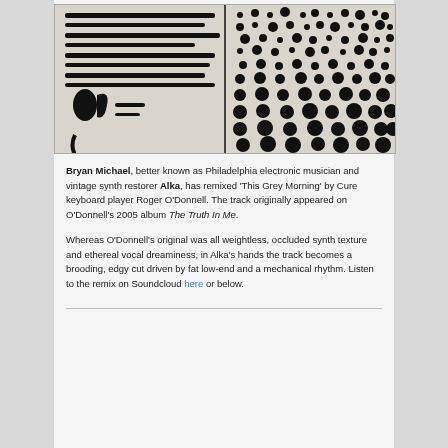[Figure (photo): Abstract black and white graphic artwork, resembling a vinyl record or printed pattern with dot-matrix and brushstroke elements divided into four quadrants by a cross.]
Bryan Michael, better known as Philadelphia electronic musician and vintage synth restorer Alka, has remixed 'This Grey Morning' by Cure keyboard player Roger O'Donnell. The track originally appeared on O'Donnell's 2005 album The Truth In Me.
Whereas O'Donnell's original was all weightless, occluded synth texture and ethereal vocal dreaminess, in Alka's hands the track becomes a brooding, edgy cut driven by fat low-end and a mechanical rhythm. Listen to the remix on Soundcloud here or below.